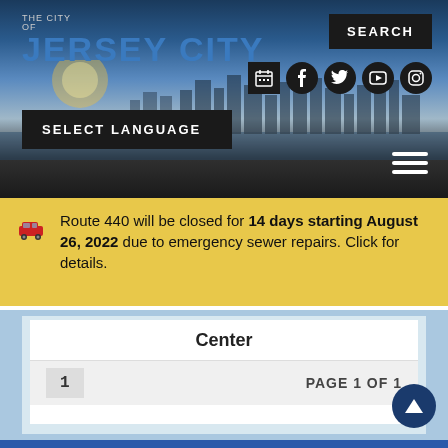THE CITY OF JERSEY CITY
SEARCH
SELECT LANGUAGE
Route 440 will be closed for 14 days starting August 26, 2022 due to emergency sewer repairs. Click for details.
Center
1   PAGE 1 OF 1